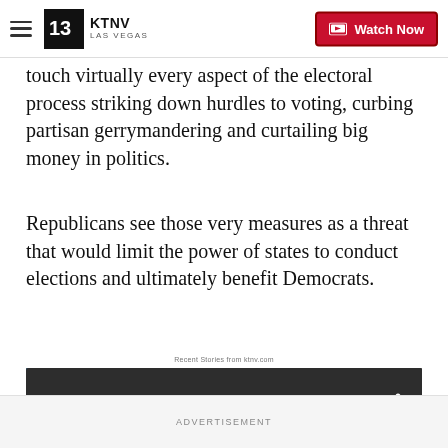KTNV LAS VEGAS — Watch Now
touch virtually every aspect of the electoral process striking down hurdles to voting, curbing partisan gerrymandering and curtailing big money in politics.
Republicans see those very measures as a threat that would limit the power of states to conduct elections and ultimately benefit Democrats.
Recent Stories from ktnv.com
[Figure (screenshot): Video thumbnail showing a football game scene with players and a referee, overlaid with a CLOSE button and a Wynn logo watermark.]
ADVERTISEMENT